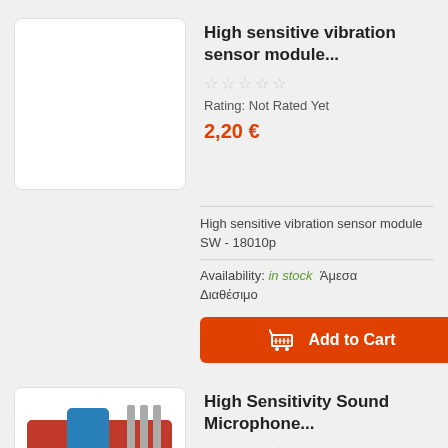[Figure (photo): White blank product image placeholder box]
High sensitive vibration sensor module...
Rating: Not Rated Yet
2,20 €
High sensitive vibration sensor module SW - 18010p
Availability: in stock  Άμεσα Διαθέσιμο
Add to Cart
[Figure (photo): Red circuit board with blue potentiometer and pins - sound microphone sensor module]
High Sensitivity Sound Microphone...